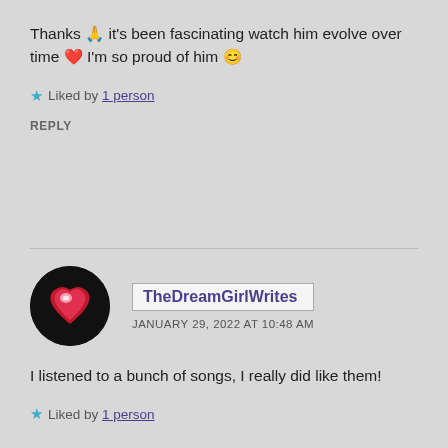Thanks 🙏 it's been fascinating watch him evolve over time ❤️ I'm so proud of him 😊
Liked by 1 person
REPLY
[Figure (photo): Circular avatar photo showing a glowing red heart shape on a dark background]
TheDreamGirlWrites
JANUARY 29, 2022 AT 10:48 AM
I listened to a bunch of songs, I really did like them!
Liked by 1 person